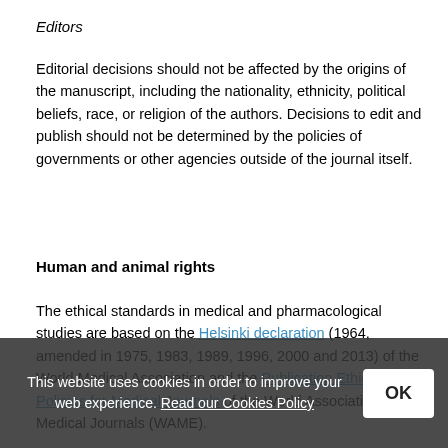Editors
Editorial decisions should not be affected by the origins of the manuscript, including the nationality, ethnicity, political beliefs, race, or religion of the authors. Decisions to edit and publish should not be determined by the policies of governments or other agencies outside of the journal itself.
Human and animal rights
The ethical standards in medical and pharmacological studies are based on the Helsinki declaration (1964, amended in 1975, 1983, 1989, 1996, 2000 and 2013) of the World Medical Association and the Publication Ethics Policies for Medical Journals of the World Association of Medical Journals (WAME).
Authors of studies mentioning experiments on animals or human tissues should declare in their cover letter a
This website uses cookies in order to improve your web experience. Read our Cookies Policy